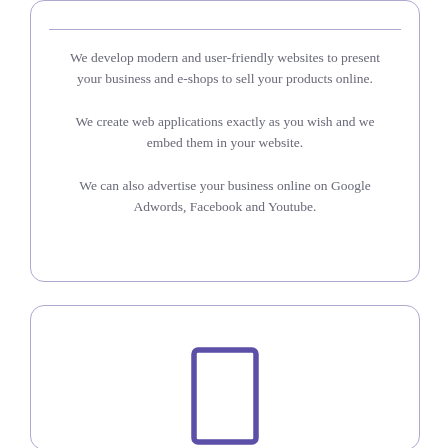We develop modern and user-friendly websites to present your business and e-shops to sell your products online.

We create web applications exactly as you wish and we embed them in your website.

We can also advertise your business online on Google Adwords, Facebook and Youtube.
[Figure (illustration): A purple/indigo outlined rectangle icon resembling a phone or mobile device frame, partially visible at the bottom of the second card]